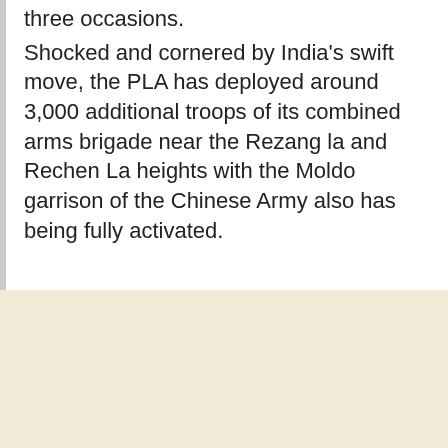three occasions.

Shocked and cornered by India's swift move, the PLA has deployed around 3,000 additional troops of its combined arms brigade near the Rezang la and Rechen La heights with the Moldo garrison of the Chinese Army also has being fully activated.